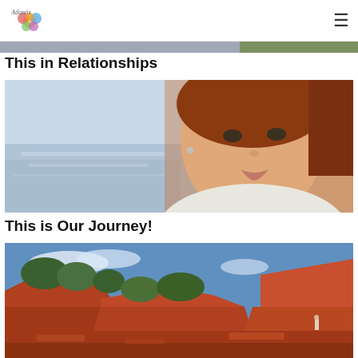Atlantis Blog header with logo and hamburger menu
[Figure (photo): Cropped top portion of a photo visible as a thin strip at the top of the content area]
This in Relationships
[Figure (photo): Close-up portrait of a young woman with red/auburn hair, photographed by the sea. The image has a warm orange glow on the right side.]
This is Our Journey!
[Figure (photo): Outdoor landscape photo showing red rock terrain with scrubby green bushes under a blue sky. A small figure is visible in the distance. Facebook and LinkedIn share buttons overlay the lower center of the image.]